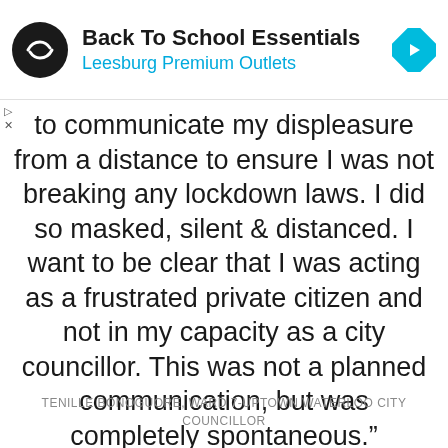[Figure (screenshot): Advertisement banner for Back To School Essentials at Leesburg Premium Outlets with logo and navigation icon]
to communicate my displeasure from a distance to ensure I was not breaking any lockdown laws. I did so masked, silent & distanced. I want to be clear that I was acting as a frustrated private citizen and not in my capacity as a city councillor. This was not a planned communication, but was completely spontaneous."
TENILLE BONOGUORE, WARD 7-UPTOWN WATERLOO CITY COUNCILLOR